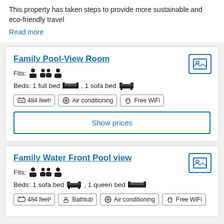This property has taken steps to provide more sustainable and eco-friendly travel
Read more
Family Pool-View Room
Fits: 3 persons
Beds: 1 full bed , 1 sofa bed
484 feet² | Air conditioning | Free WiFi
Show prices
Family Water Front Pool view
Fits: 3 persons
Beds: 1 sofa bed , 1 queen bed
484 feet² | Bathtub | Air conditioning | Free WiFi